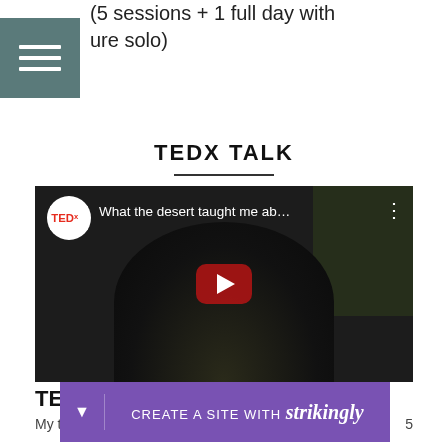(5 sessions + 1 full day with ure solo)
TEDX TALK
[Figure (screenshot): YouTube video thumbnail showing a TEDx talk titled 'What the desert taught me ab...' with a speaker in a dark background and a red play button overlay]
TED
My ta
5
CREATE A SITE WITH strikingly